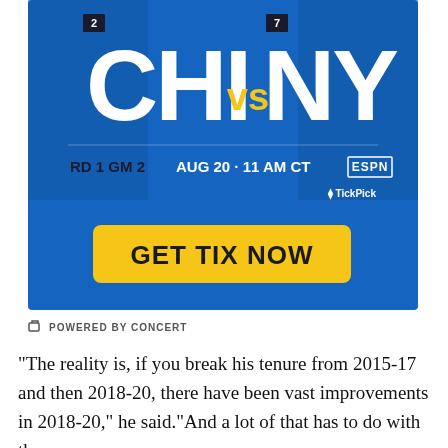[Figure (infographic): Sports advertisement showing CHI vs NY matchup. Blue background with large white bold text 'CHI' and 'NY' with yellow 'vs' between them. Seed badges showing '2' for CHI and '7' for NY. Game info: RD 1 GM 2 AUG 20 · 11 AM CT ESPN. TickPick logo in corner. Yellow 'GET TIX NOW' button.]
POWERED BY CONCERT
“The reality is, if you break his tenure from 2015-17 and then 2018-20, there have been vast improvements in 2018-20,” he said.“And a lot of that has to do with the